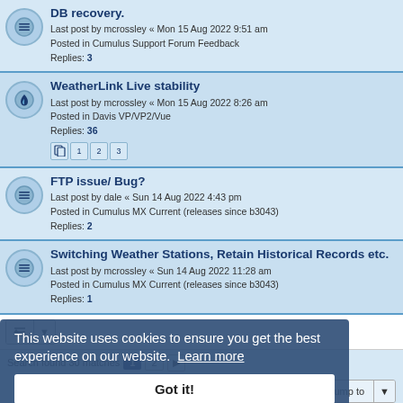DB recovery.
Last post by mcrossley « Mon 15 Aug 2022 9:51 am
Posted in Cumulus Support Forum Feedback
Replies: 3
WeatherLink Live stability
Last post by mcrossley « Mon 15 Aug 2022 8:26 am
Posted in Davis VP/VP2/Vue
Replies: 36
Pages: 1 2 3
FTP issue/ Bug?
Last post by dale « Sun 14 Aug 2022 4:43 pm
Posted in Cumulus MX Current (releases since b3043)
Replies: 2
Switching Weather Stations, Retain Historical Records etc.
Last post by mcrossley « Sun 14 Aug 2022 11:28 am
Posted in Cumulus MX Current (releases since b3043)
Replies: 1
Search found 30 matches  1  2  >
Jump to
Board index  Contact us  Delete cookies  All times are UTC
Powered by phpBB® Forum Software © phpBB Limited
Privacy | Terms
This website uses cookies to ensure you get the best experience on our website. Learn more
Got it!